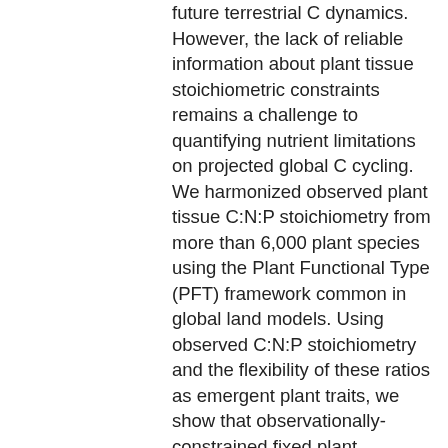future terrestrial C dynamics. However, the lack of reliable information about plant tissue stoichiometric constraints remains a challenge to quantifying nutrient limitations on projected global C cycling. We harmonized observed plant tissue C:N:P stoichiometry from more than 6,000 plant species using the Plant Functional Type (PFT) framework common in global land models. Using observed C:N:P stoichiometry and the flexibility of these ratios as emergent plant traits, we show that observationally-constrained fixed plant stoichiometry does not improve model estimates of present-day C dynamics compared with unconstrained stoichiometry. However, adopting stoichiometric flexibility significantly improves model predictions of C fluxes and stocks.